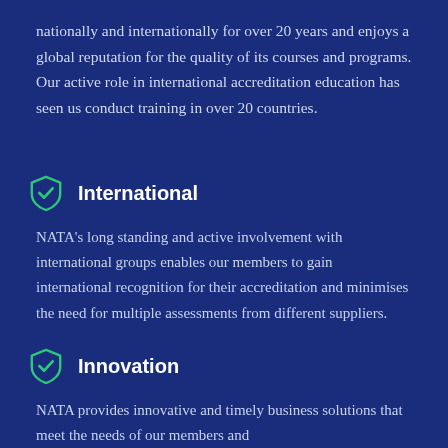nationally and internationally for over 20 years and enjoys a global reputation for the quality of its courses and programs. Our active role in international accreditation education has seen us conduct training in over 20 countries.
International
NATA's long standing and active involvement with international groups enables our members to gain international recognition for their accreditation and minimises the need for multiple assessments from different suppliers.
Innovation
NATA provides innovative and timely business solutions that meet the needs of our members and